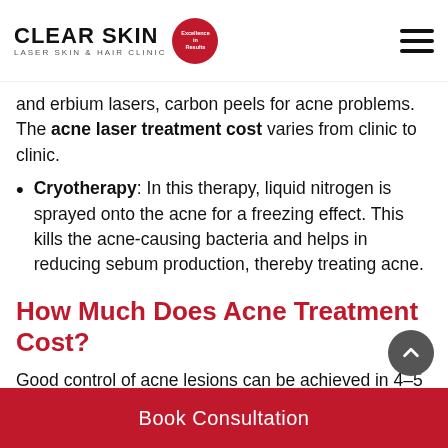CLEAR SKIN LASER SKIN & HAIR CLINIC
and erbium lasers, carbon peels for acne problems. The acne laser treatment cost varies from clinic to clinic.
Cryotherapy: In this therapy, liquid nitrogen is sprayed onto the acne for a freezing effect. This kills the acne-causing bacteria and helps in reducing sebum production, thereby treating acne.
How Much Does Acne Treatment Cost?
Good control of acne lesions can be achieved in 4-5 months; for post-acne pigmentation, it may take overall 6
Book Consultation